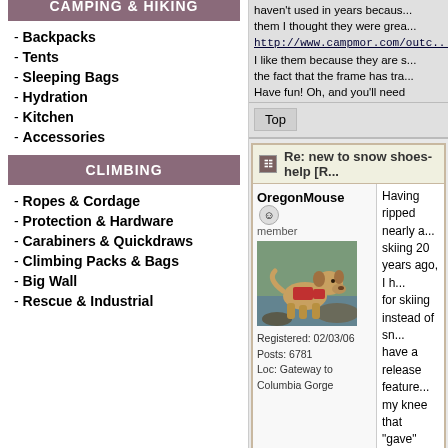- Ultralight Down Sleeping Bags
- Ultralight Synthetic Sleep Bags
- Ultralight Apparel
- the Titanium Page
- WM Extremelite Sleeping Bags
CAMPING & HIKING
- Backpacks
- Tents
- Sleeping Bags
- Hydration
- Kitchen
- Accessories
CLIMBING
- Ropes & Cordage
- Protection & Hardware
- Carabiners & Quickdraws
- Climbing Packs & Bags
- Big Wall
- Rescue & Industrial
haven't used in years because... them I thought they were grea... http://www.campmor.com/outdo... I like them because they are s... the fact that the frame has tra... Have fun! Oh, and you'll need
Top
Re: new to snow shoes-help [R...
OregonMouse
member
Registered: 02/03/06
Posts: 6781
Loc: Gateway to Columbia Gorge
Having ripped nearly a... skiing 20 years ago, I h... for skiing instead of sn... have a release feature... my knee that "gave" in...

Snowshoeing is easier... trekking poles with sno... snowshoeing becomes... particularly if there are... snow, you need to mak... unless you enjoy being... harder work than skiing...

I also suggest renting n... invest. I finally gave up... Oregon, we can hike s... course it's pretty soggy... skis are still sitting in t...